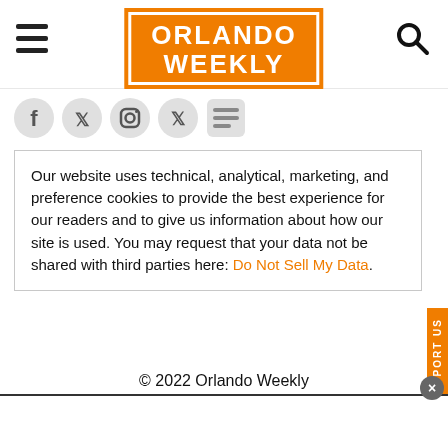ORLANDO WEEKLY
[Figure (logo): Orlando Weekly logo: white bold text on orange background with orange border]
[Figure (infographic): Social media icons row: Facebook, Twitter, Instagram, X (Twitter new), Google News]
Our website uses technical, analytical, marketing, and preference cookies to provide the best experience for our readers and to give us information about how our site is used. You may request that your data not be shared with third parties here: Do Not Sell My Data.
SUPPORT US
© 2022 Orlando Weekly
Powered by Foundation